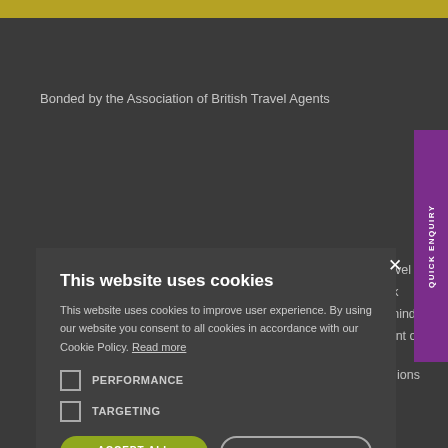Bonded by the Association of British Travel Agents
Air Travel
an look
ce of mind
he event of
QUICK ENQUIRY
This website uses cookies
This website uses cookies to improve user experience. By using our website you consent to all cookies in accordance with our Cookie Policy. Read more
PERFORMANCE
TARGETING
ACCEPT ALL
DECLINE ALL
SHOW DETAILS
ions
0800 021 3237